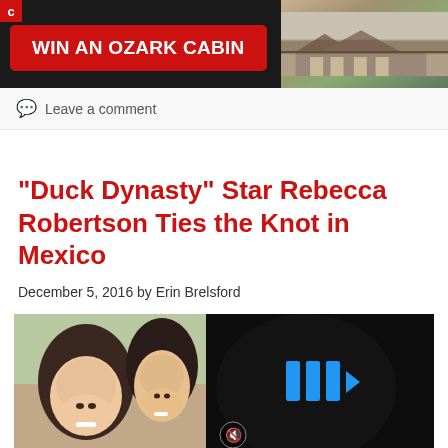[Figure (photo): Advertisement banner: red button 'WIN AN OZARK CABIN' on dark background with cabin photo on right, small red logo in top-left corner]
Leave a comment
“Duck Dynasty” Star Rebecca Robertson Ties the Knot in Mexico
December 5, 2016 by Erin Brelsford
[Figure (photo): Left half: photo of two smiling young women outdoors. Right half: dark video player overlay with blue play/skip icon and mute icon.]